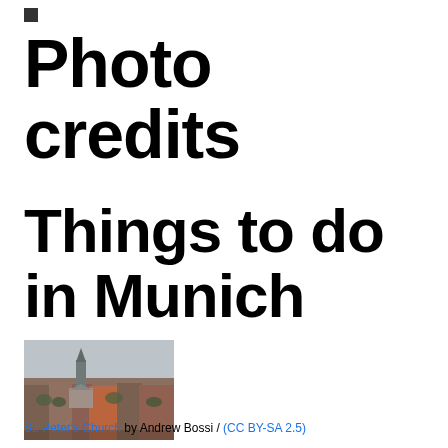■
Photo credits
Things to do in Munich
[Figure (photo): Aerial cityscape photograph of Munich showing St. Peter's Church tower and surrounding red-roofed buildings, taken from an elevated vantage point on a cloudy day.]
St. Peter's Church by Andrew Bossi / (CC BY-SA 2.5)